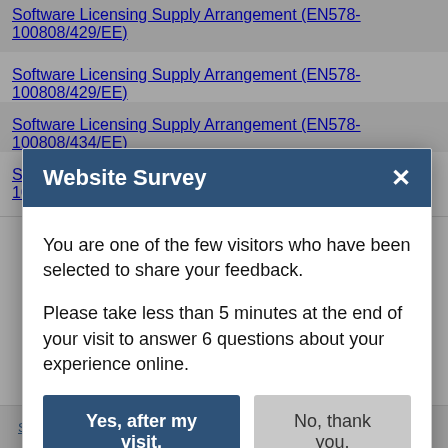Software Licensing Supply Arrangement (EN578-100808/429/EE)
Software Licensing Supply Arrangement (EN578-100808/434/EE)
Software Licensing Supply Arrangement (EN578-100808/414/EE)
Website Survey
You are one of the few visitors who have been selected to share your feedback.
Please take less than 5 minutes at the end of your visit to answer 6 questions about your experience online.
Yes, after my visit.
No, thank you.
Software Licensing Supply Arrangement (EN578-100808/450/EE)